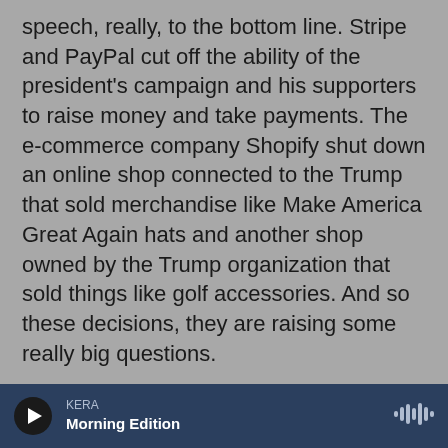speech, really, to the bottom line. Stripe and PayPal cut off the ability of the president's campaign and his supporters to raise money and take payments. The e-commerce company Shopify shut down an online shop connected to the Trump that sold merchandise like Make America Great Again hats and another shop owned by the Trump organization that sold things like golf accessories. And so these decisions, they are raising some really big questions.
CHANG: What are some of those questions?
BOND: Well, maybe the biggest one is all about access. So Amazon, Apple, Google - they have a lot of...
KERA Morning Edition